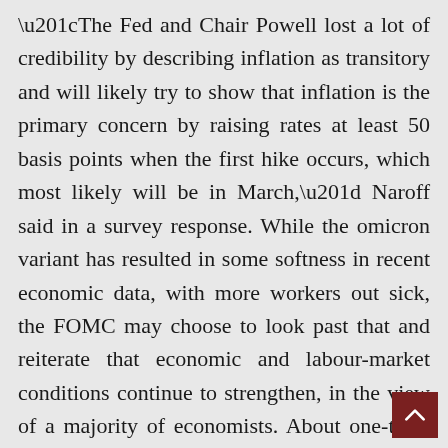“The Fed and Chair Powell lost a lot of credibility by describing inflation as transitory and will likely try to show that inflation is the primary concern by raising rates at least 50 basis points when the first hike occurs, which most likely will be in March,” Naroff said in a survey response. While the omicron variant has resulted in some softness in recent economic data, with more workers out sick, the FOMC may choose to look past that and reiterate that economic and labour-market conditions continue to strengthen, in the view of a majority of economists. About one-third expect the statement to mention the weakness but say it will be temporary.
The Fed is likely to start winding down its balance sheet, now $8.86tn, shortly after liftoff of interest rates, though economists have varying views on when the reductions will start, as well as their pace and composition.